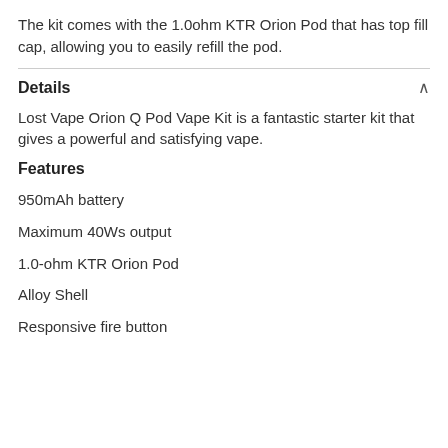The kit comes with the 1.0ohm KTR Orion Pod that has top fill cap, allowing you to easily refill the pod.
Details
Lost Vape Orion Q Pod Vape Kit is a fantastic starter kit that gives a powerful and satisfying vape.
Features
950mAh battery
Maximum 40Ws output
1.0-ohm KTR Orion Pod
Alloy Shell
Responsive fire button